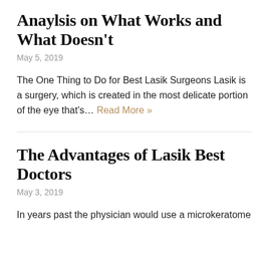Anaylsis on What Works and What Doesn't
May 5, 2019
The One Thing to Do for Best Lasik Surgeons Lasik is a surgery, which is created in the most delicate portion of the eye that's… Read More »
The Advantages of Lasik Best Doctors
May 3, 2019
In years past the physician would use a microkeratome